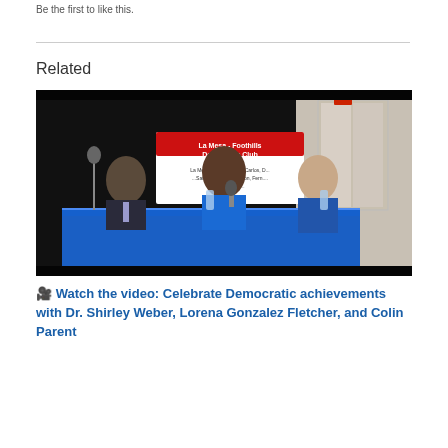Be the first to like this.
Related
[Figure (photo): Three people seated at a table with a blue tablecloth at a La Mesa-Foothills Democratic Club event. A man in a suit is on the left, a woman in blue speaking into a microphone in the center, and a woman in blue on the right. A banner for the club is visible in the background.]
🎥 Watch the video: Celebrate Democratic achievements with Dr. Shirley Weber, Lorena Gonzalez Fletcher, and Colin Parent